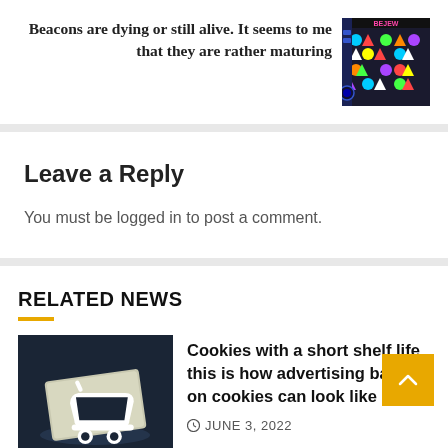Beacons are dying or still alive. It seems to me that they are rather maturing
[Figure (screenshot): Screenshot of a colorful match-3 puzzle game with gems and shapes on a dark background]
Leave a Reply
You must be logged in to post a comment.
RELATED NEWS
[Figure (photo): Dark background with a white shopping cart icon on what appears to be a rolled paper or document]
Cookies with a short shelf life this is how advertising based on cookies can look like
JUNE 3, 2022